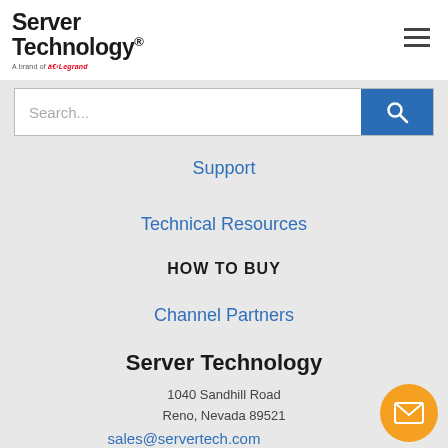[Figure (logo): Server Technology logo — black bold text 'Server Technology' with 'A brand of Legrand' tagline below]
[Figure (screenshot): Search bar with placeholder 'Search...' and blue search button with magnifying glass icon]
Support
Technical Resources
HOW TO BUY
Channel Partners
Server Technology
1040 Sandhill Road
Reno, Nevada 89521
sales@servertech.com
800-835-1515